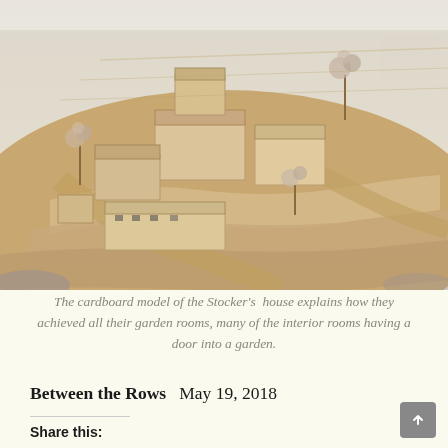[Figure (photo): Photograph of a cardboard architectural scale model of the Stocker's house placed on a wooden table. The model shows multiple building volumes arranged around courtyards, with contoured terrain represented by layered cardboard. Small dried flower branches serve as tree representations. The model is photographed from above at an angle, with a blurred domestic interior visible in the background.]
The cardboard model of the Stocker's house explains how they achieved all their garden rooms, many of the interior rooms having a door into a garden.
Between the Rows   May 19, 2018
Share this: